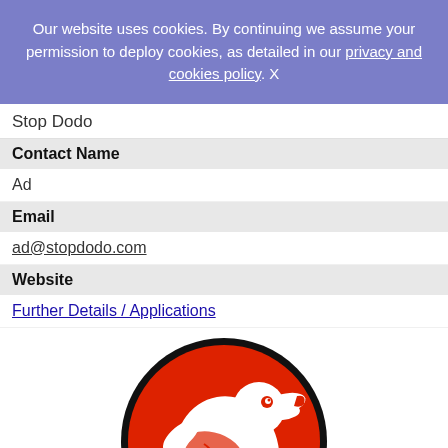Our website uses cookies. By continuing we assume your permission to deploy cookies, as detailed in our privacy and cookies policy. X
Stop Dodo
Contact Name
Ad
Email
ad@stopdodo.com
Website
Further Details / Applications
[Figure (logo): Stop Dodo logo: a circular badge with black border, red background, and a white silhouette of a dodo bird facing left, with subtle red line details on the dodo.]